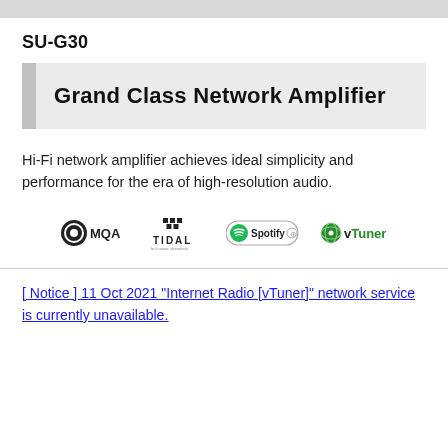SU-G30
Grand Class Network Amplifier
Hi-Fi network amplifier achieves ideal simplicity and performance for the era of high-resolution audio.
[Figure (logo): Logos for MQA, TIDAL, Spotify, and vTuner streaming services]
[ Notice ] 11 Oct 2021 "Internet Radio [vTuner]" network service is currently unavailable.